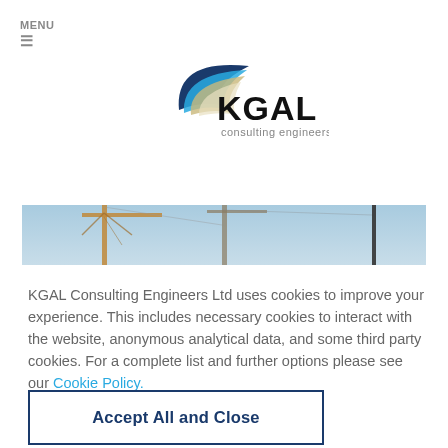MENU
[Figure (logo): KGAL Consulting Engineers logo with stylized wing/wave graphic in blue and tan above the text KGAL in bold black and 'consulting engineers' in grey]
[Figure (photo): Partial photo of construction cranes against a blue sky]
KGAL Consulting Engineers Ltd uses cookies to improve your experience. This includes necessary cookies to interact with the website, anonymous analytical data, and some third party cookies. For a complete list and further options please see our Cookie Policy.
Accept All and Close